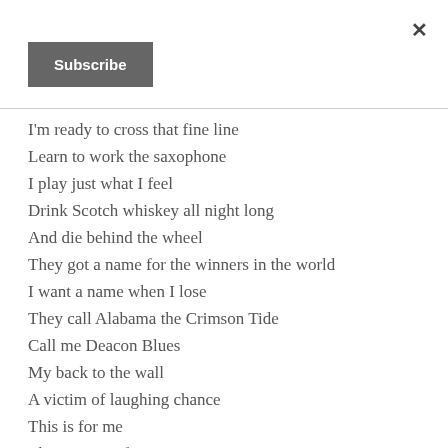× Subscribe
I'm ready to cross that fine line
Learn to work the saxophone
I play just what I feel
Drink Scotch whiskey all night long
And die behind the wheel
They got a name for the winners in the world
I want a name when I lose
They call Alabama the Crimson Tide
Call me Deacon Blues
My back to the wall
A victim of laughing chance
This is for me
The essence of true romance